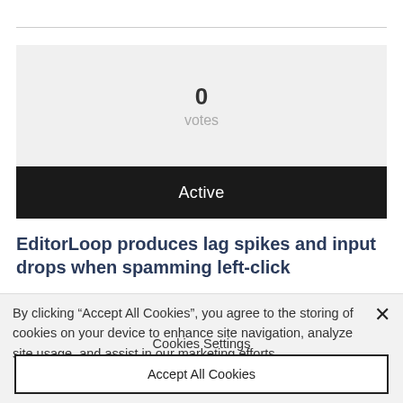0
votes
Active
EditorLoop produces lag spikes and input drops when spamming left-click
By clicking “Accept All Cookies”, you agree to the storing of cookies on your device to enhance site navigation, analyze site usage, and assist in our marketing efforts.
Cookies Settings
Accept All Cookies